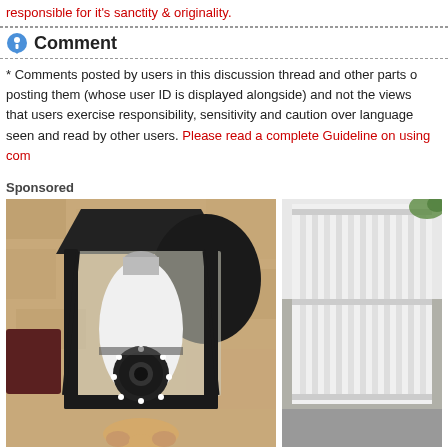responsible for it's sanctity & originality.
Comment
* Comments posted by users in this discussion thread and other parts of posting them (whose user ID is displayed alongside) and not the views that users exercise responsibility, sensitivity and caution over language seen and read by other users. Please read a complete Guideline on using com
Sponsored
[Figure (photo): A security camera shaped like a light bulb installed inside a black outdoor lantern fixture mounted on a textured stone wall.]
[Figure (photo): Partial view of a building exterior with white vertical railings/shutters.]